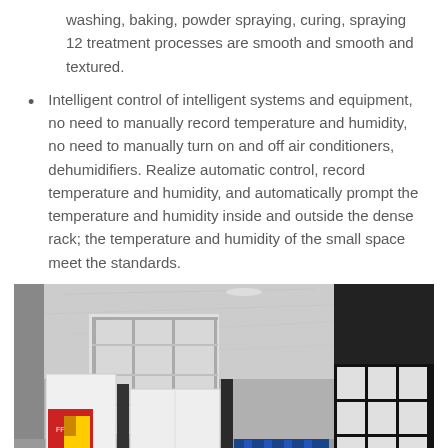washing, baking, powder spraying, curing, spraying 12 treatment processes are smooth and smooth and textured.
Intelligent control of intelligent systems and equipment, no need to manually record temperature and humidity, no need to manually turn on and off air conditioners, dehumidifiers. Realize automatic control, record temperature and humidity, and automatically prompt the temperature and humidity inside and outside the dense rack; the temperature and humidity of the small space meet the standards.
[Figure (photo): Interior photo of an office or storage room showing shelving units and dense racks, with white cabinets, dark panels, a colorful display panel on the left, and file binders on shelves. The ceiling shows a textured surface and the room has large windows in the background.]